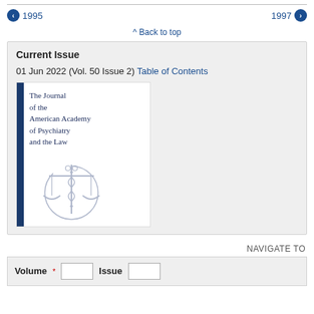← 1995    1997 →
⌃ Back to top
Current Issue
01 Jun 2022 (Vol. 50 Issue 2) Table of Contents
[Figure (illustration): Journal cover of The Journal of the American Academy of Psychiatry and the Law, with a dark blue vertical bar on the left and a logo of scales of justice with a caduceus on the right side.]
NAVIGATE TO
Volume * [input] Issue [input]